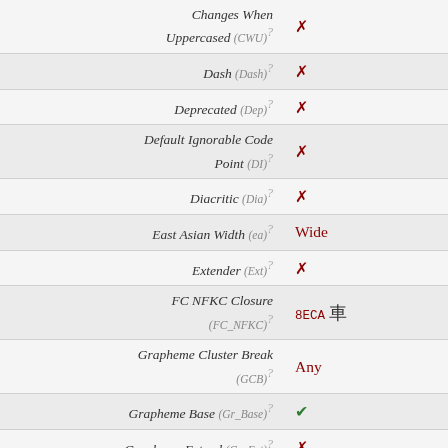| Property | Value |
| --- | --- |
| Changes When Uppercased (CWU)? | ✗ |
| Dash (Dash)? | ✗ |
| Deprecated (Dep)? | ✗ |
| Default Ignorable Code Point (DI)? | ✗ |
| Diacritic (Dia)? | ✗ |
| East Asian Width (ea)? | Wide |
| Extender (Ext)? | ✗ |
| FC NFKC Closure (FC_NFKC)? | 8ECA 車 |
| Grapheme Cluster Break (GCB)? | Any |
| Grapheme Base (Gr_Base)? | ✓ |
| Grapheme Extend (Gr_Ext)? | ✗ |